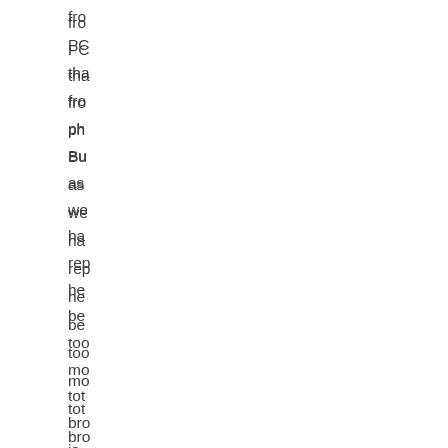fro
PC
tha
fro
ph
Bu
as
we
ha
rep
he
be
too
mo
tot
bro
is